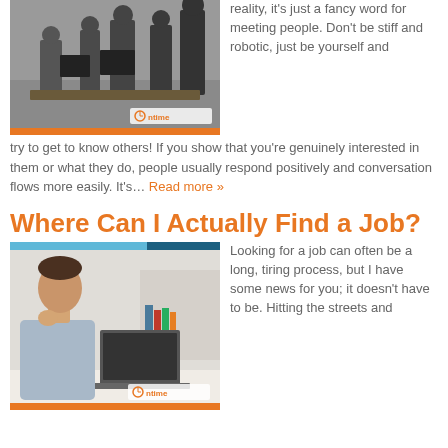[Figure (photo): Photo of people in a meeting/office room around computers, with an 'Ontime' watermark badge at bottom right, orange bar below image.]
reality, it's just a fancy word for meeting people. Don't be stiff and robotic, just be yourself and try to get to know others! If you show that you're genuinely interested in them or what they do, people usually respond positively and conversation flows more easily. It's… Read more »
Where Can I Actually Find a Job?
[Figure (photo): Photo of a young man sitting at a desk with a laptop, hand on chin thinking, with a blue/teal top bar and 'Ontime' watermark, orange bar below image.]
Looking for a job can often be a long, tiring process, but I have some news for you; it doesn't have to be. Hitting the streets and